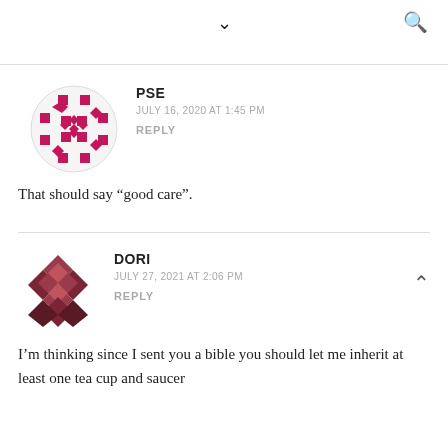chevron down, search icon
[Figure (illustration): Pink geometric pattern avatar for PSE commenter]
PSE
JULY 16, 2020 AT 1:45 PM
REPLY
That should say “good care”.
[Figure (illustration): Dark red geometric diamond pattern avatar for Dori commenter]
DORI
JULY 27, 2021 AT 2:06 PM
REPLY
I’m thinking since I sent you a bible you should let me inherit at least one tea cup and saucer